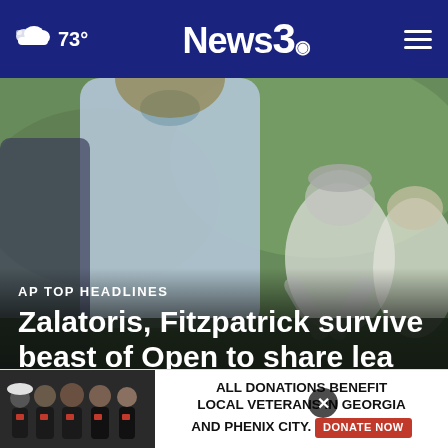73° News3
[Figure (photo): Blurred photo of a golfer in a light blue polo shirt with spectators in the background on a golf course]
AP TOP HEADLINES
Zalatoris, Fitzpatrick survive beast of Open to share lead
[Figure (photo): Advertisement banner: group of people in black uniforms with text 'ALL DONATIONS BENEFIT LOCAL VETERANS IN GEORGIA AND PHENIX CITY. DONATE NOW']